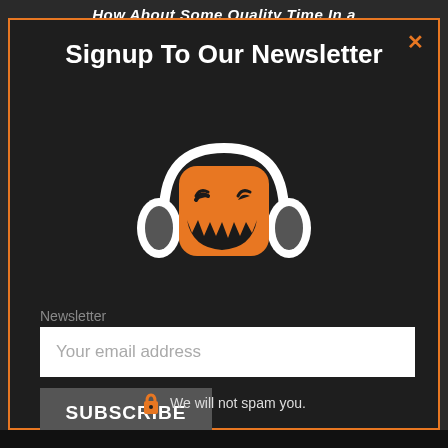How About Some Quality Time In a
Signup To Our Newsletter
[Figure (logo): Orange pumpkin jack-o-lantern face with headphones logo on dark background]
Newsletter
Your email address
SUBSCRIBE
We will not spam you.